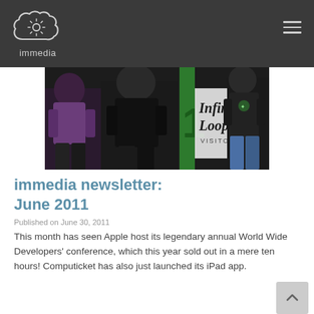immedia
[Figure (photo): Photo of people standing in front of an Infinite Loop Visitors sign at Apple campus]
immedia newsletter: June 2011
Published on June 30, 2011
This month has seen Apple host its legendary annual World Wide Developers' conference, which this year sold out in a mere ten hours! Computicket has also just launched its iPad app.